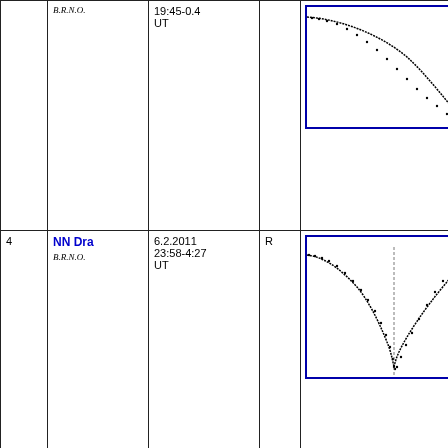| # | Star / Observer | Date / Time | Band | Light curve |
| --- | --- | --- | --- | --- |
|  | B.R.N.O. | 19:45-0.4 UT |  | (light curve chart - partial, upper row) |
| 4 | NN Dra
B.R.N.O. | 6.2.2011
23:58-4:27 UT | R | (light curve chart - lower row) |